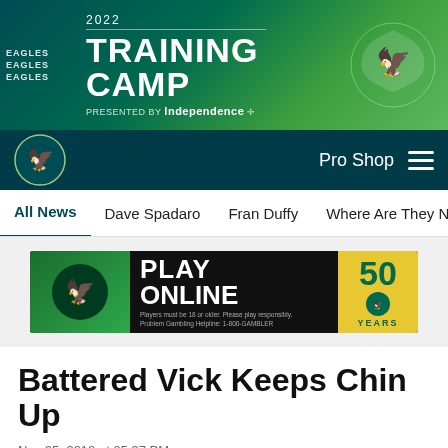[Figure (photo): Philadelphia Eagles 2022 Training Camp banner with green background, Eagles wordmark repeated on left, large text '2022 TRAINING CAMP presented by Independence' in center, Eagles logo on right]
Pro Shop
All News  Dave Spadaro  Fran Duffy  Where Are They Now?  Pu
[Figure (other): Play Online advertisement banner - Eagles logo on green left section, PLAY ONLINE text in large white letters on black, disclaimer text, 50 YEARS badge on yellow right section]
Battered Vick Keeps Chin Up
Nov 05, 2012 at 05:37 PM
Dave Spadaro